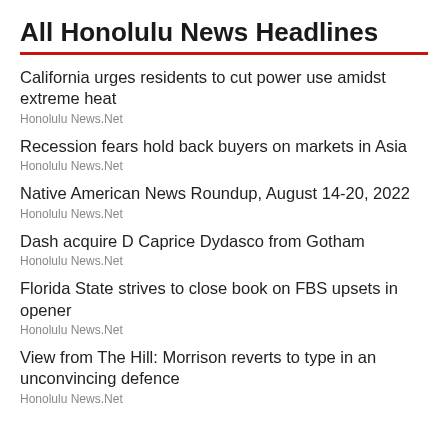All Honolulu News Headlines
California urges residents to cut power use amidst extreme heat
Honolulu News.Net
Recession fears hold back buyers on markets in Asia
Honolulu News.Net
Native American News Roundup, August 14-20, 2022
Honolulu News.Net
Dash acquire D Caprice Dydasco from Gotham
Honolulu News.Net
Florida State strives to close book on FBS upsets in opener
Honolulu News.Net
View from The Hill: Morrison reverts to type in an unconvincing defence
Honolulu News.Net